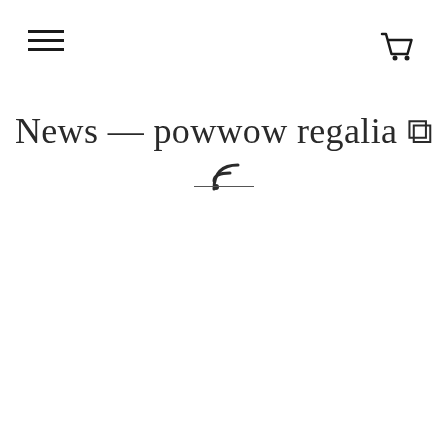[Figure (other): Hamburger menu icon (three horizontal lines) in top left corner]
[Figure (other): Shopping cart icon in top right corner]
News — powwow regalia
[Figure (other): Horizontal decorative divider line below title]